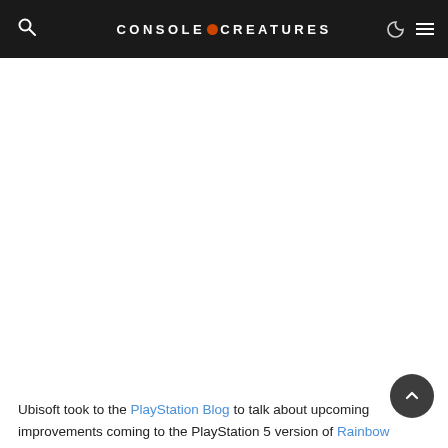CONSOLE CREATURES
Ubisoft took to the PlayStation Blog to talk about upcoming improvements coming to the PlayStation 5 version of Rainbow